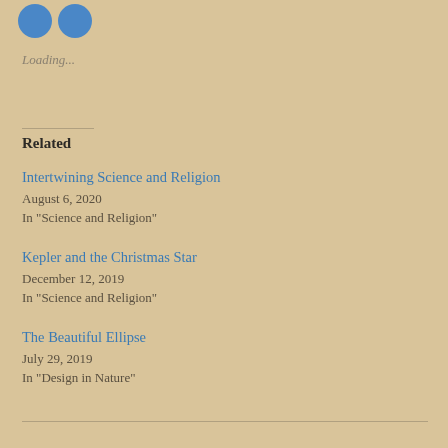[Figure (other): Two blue circular social media share/like buttons at the top left]
Loading...
Related
Intertwining Science and Religion
August 6, 2020
In "Science and Religion"
Kepler and the Christmas Star
December 12, 2019
In "Science and Religion"
The Beautiful Ellipse
July 29, 2019
In "Design in Nature"